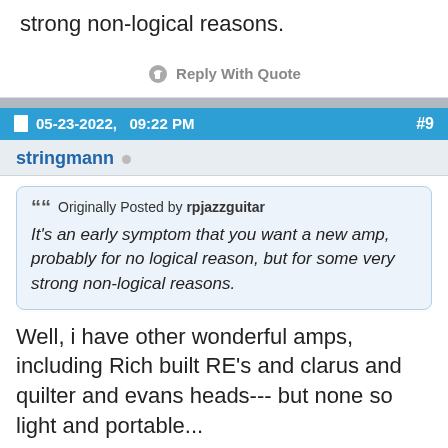strong non-logical reasons.
Reply With Quote
05-23-2022,   09:22 PM   #9
stringmann
Originally Posted by rpjazzguitar
It's an early symptom that you want a new amp, probably for no logical reason, but for some very strong non-logical reasons.
Well, i have other wonderful amps, including Rich built RE's and clarus and quilter and evans heads--- but none so light and portable...
and while we're on the subject, i was feeling